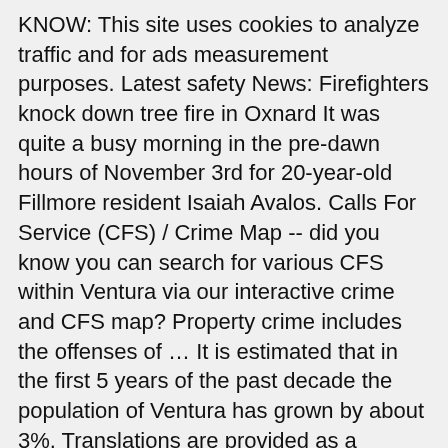KNOW: This site uses cookies to analyze traffic and for ads measurement purposes. Latest safety News: Firefighters knock down tree fire in Oxnard It was quite a busy morning in the pre-dawn hours of November 3rd for 20-year-old Fillmore resident Isaiah Avalos. Calls For Service (CFS) / Crime Map -- did you know you can search for various CFS within Ventura via our interactive crime and CFS map? Property crime includes the offenses of … It is estimated that in the first 5 years of the past decade the population of Ventura has grown by about 3%. Translations are provided as a service to users of the Ventura.org website, and are provided "as is." Armed suspect sought in Camarillo carjacking. Ventura County Sheriff's Crime Map; Ventura County Sheriff's Office; Health and Human Services. If any questions arise related to the accuracy of the information contained in the translated website, please refer to the English version of the website which is the official version. Using this site, you can query and map selected crimes for your neighborhood, or near any intersection within the City of Ventura. Cloudflare Ray ID: 60618c71bc6721bd Interactive Crime Map & Reporting Districts | City Of Ventura The following link: Interactive Crime Map, will take you to our Ventura Police Calls For